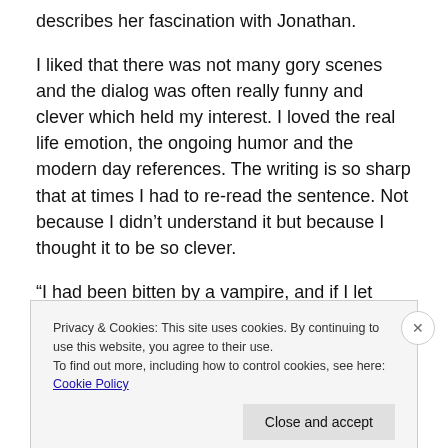describes her fascination with Jonathan.
I liked that there was not many gory scenes and the dialog was often really funny and clever which held my interest. I loved the real life emotion, the ongoing humor and the modern day references. The writing is so sharp that at times I had to re-read the sentence. Not because I didn't understand it but because I thought it to be so clever.
“I had been bitten by a vampire, and if I let myself think a bit more, something in my gut told me that Jonathan was a vampire. He had to be. No one could be that good-looking
Privacy & Cookies: This site uses cookies. By continuing to use this website, you agree to their use.
To find out more, including how to control cookies, see here: Cookie Policy
Close and accept
NIGHTBITES